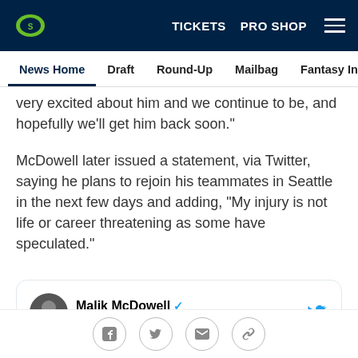[Figure (screenshot): Seattle Seahawks website top navigation bar with logo, TICKETS, PRO SHOP, and hamburger menu]
News Home  Draft  Round-Up  Mailbag  Fantasy Insider  Roste
very excited about him and we continue to be, and hopefully we'll get him back soon."
McDowell later issued a statement, via Twitter, saying he plans to rejoin his teammates in Seattle in the next few days and adding, "My injury is not life or career threatening as some have speculated."
[Figure (screenshot): Embedded tweet from Malik McDowell (@MSU_LEEK4) with verified badge and Follow link, Twitter bird icon top right, and a partially visible tweet preview below]